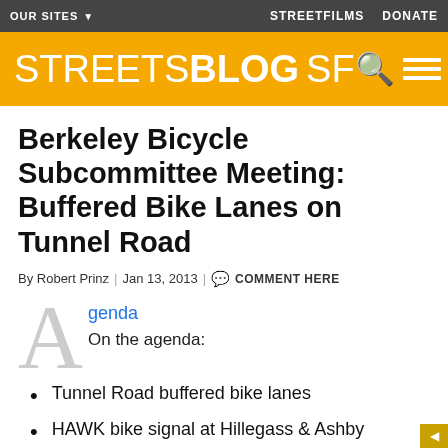OUR SITES ▼    STREETFILMS    DONATE
[Figure (logo): Streetsblog SF logo on orange/gold background with search and menu icons]
Berkeley Bicycle Subcommittee Meeting: Buffered Bike Lanes on Tunnel Road
By Robert Prinz | Jan 13, 2013 | COMMENT HERE
Agenda
On the agenda:
Tunnel Road buffered bike lanes
HAWK bike signal at Hillegass & Ashby
Berkeley Bicycle Plan update